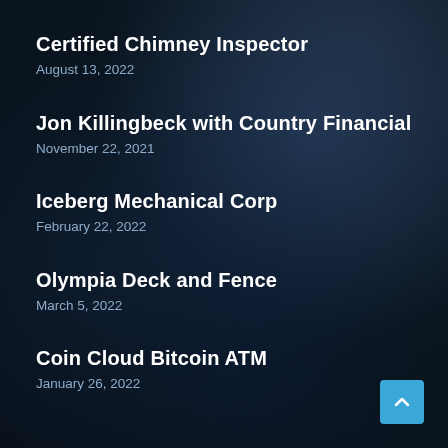Certified Chimney Inspector
August 13, 2022
Jon Killingbeck with Country Financial
November 22, 2021
Iceberg Mechanical Corp
February 22, 2022
Olympia Deck and Fence
March 5, 2022
Coin Cloud Bitcoin ATM
January 26, 2022